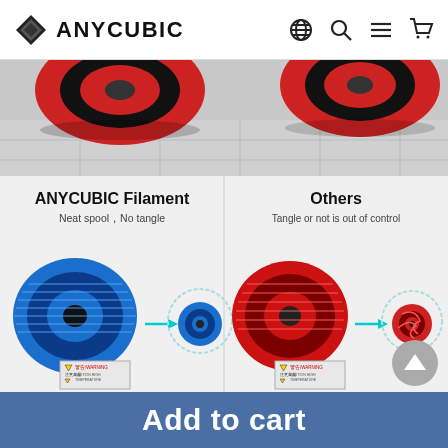ANYCUBIC
[Figure (photo): Top portion of product listing page showing 3D printer filament spools (red) on a tiled floor, partially cropped]
[Figure (infographic): Comparison panel showing ANYCUBIC Filament (left, blue spool - neat winding, no tangle) vs Others (right, red spool - tangled). Both panels show filament feeding into a 3D printer hotend with WARNING/CAUTION HIGH TEMPERATURE labels. Left side has blue neatly wound spool demonstration. Right side has tangled red spool demonstration.]
ANYCUBIC Filament
Neat spool，No tangle
Others
Tangle or not is out of control
Add to cart